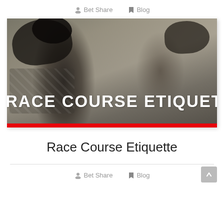Bet Share  Blog
[Figure (photo): Two women wearing decorative hats/fascinators at a race course, smiling and laughing, with large white bold text overlay reading 'RACE COURSE ETIQUETTE' and a red bar at the bottom of the image.]
Race Course Etiquette
Bet Share  Blog